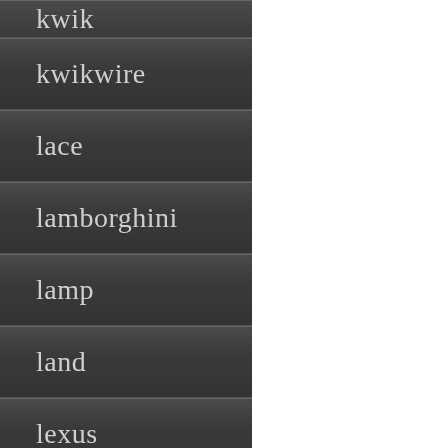kwik
kwikwire
lace
lamborghini
lamp
land
lexus
lifan
lift
light
lightforce
lights